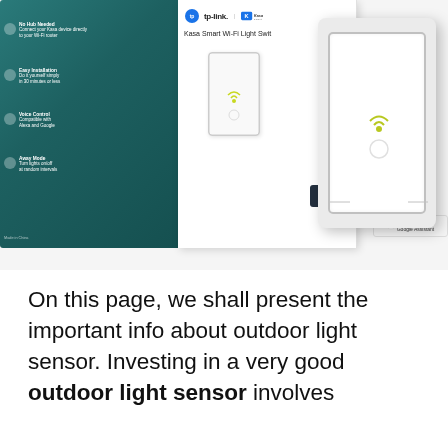[Figure (photo): Product photo of TP-Link Kasa Smart Wi-Fi Light Switch. Left side shows teal product packaging box with TP-Link and Kasa logos, product name 'Kasa Smart Wi-Fi Light Switch', and feature icons on the side. The box shows the switch on its front. Right side shows the standalone white smart light switch with a small yellow-green Wi-Fi icon in the center.]
On this page, we shall present the important info about outdoor light sensor. Investing in a very good outdoor light sensor involves